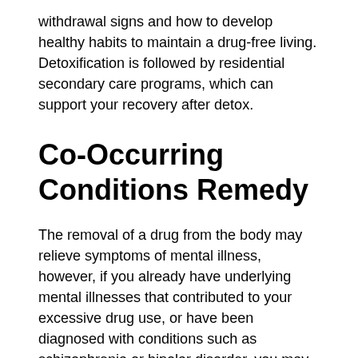withdrawal signs and how to develop healthy habits to maintain a drug-free living. Detoxification is followed by residential secondary care programs, which can support your recovery after detox.
Co-Occurring Conditions Remedy
The removal of a drug from the body may relieve symptoms of mental illness, however, if you already have underlying mental illnesses that contributed to your excessive drug use, or have been diagnosed with conditions such as schizophrenia or bipolar disorder, you may require additional treatment.
Get Guidance
With our state-of-the-art facilities, we can aid you in getting a proper diagnosis and finding an appropriate therapy. We can assist you with your treatment process to facilitate your recovery. Our experts are willing to answer all your